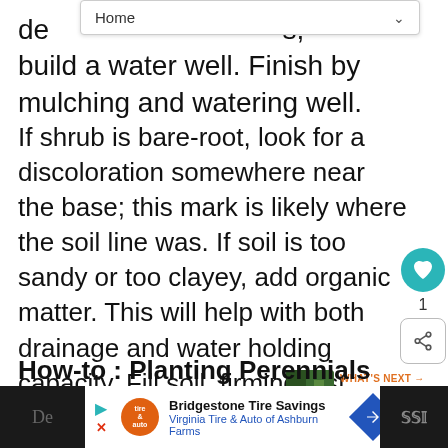Home
de…s, build a water well. Finish by mulching and watering well.
If shrub is bare-root, look for a discoloration somewhere near the base; this mark is likely where the soil line was. If soil is too sandy or too clayey, add organic matter. This will help with both drainage and water holding capacity. Fill soil, firming just enough to support shrub. Finish by mulching and watering well.
How-to : Planting Perennials
WHAT'S NEXT → Decorative bark and go...
Bridgestone Tire Savings
Virginia Tire & Auto of Ashburn Farms